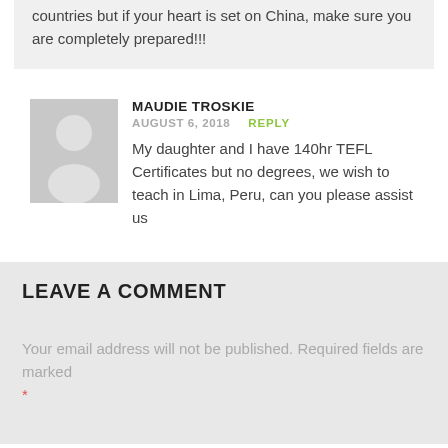countries but if your heart is set on China, make sure you are completely prepared!!!
MAUDIE TROSKIE
AUGUST 6, 2018
My daughter and I have 140hr TEFL Certificates but no degrees, we wish to teach in Lima, Peru, can you please assist us
LEAVE A COMMENT
Your email address will not be published. Required fields are marked *